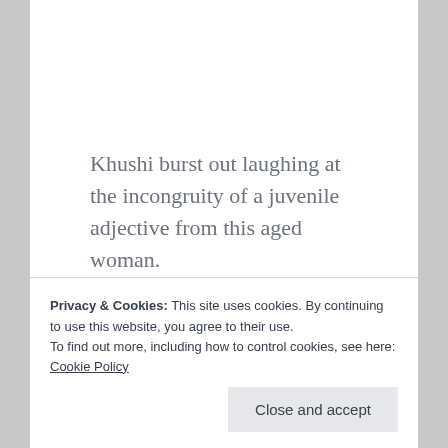Khushi burst out laughing at the incongruity of a juvenile adjective from this aged woman.
“Cool Amma?”
Privacy & Cookies: This site uses cookies. By continuing to use this website, you agree to their use.
To find out more, including how to control cookies, see here: Cookie Policy
Close and accept
her face.” “Feel like I ought to bow or curtsey